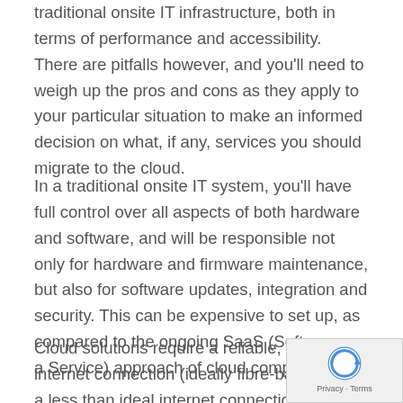traditional onsite IT infrastructure, both in terms of performance and accessibility. There are pitfalls however, and you'll need to weigh up the pros and cons as they apply to your particular situation to make an informed decision on what, if any, services you should migrate to the cloud.
In a traditional onsite IT system, you'll have full control over all aspects of both hardware and software, and will be responsible not only for hardware and firmware maintenance, but also for software updates, integration and security. This can be expensive to set up, as compared to the ongoing SaaS (Software as a Service) approach of cloud computing.
Cloud solutions require a reliable, high speed internet connection (ideally fibre-based), and a less than ideal internet connection can make critical services unavailable for short periods at a time.